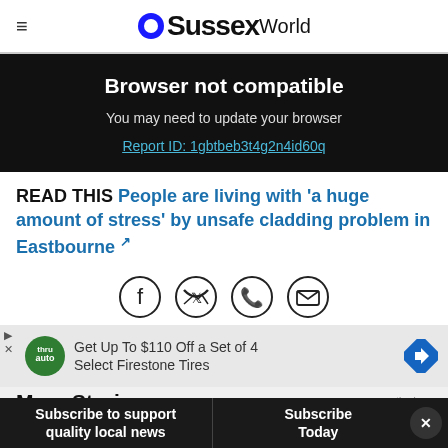≡ OSussexWorld
Browser not compatible
You may need to update your browser
Report ID: 1gbtbeb3t4g2n4id60q
READ THIS People are living with 'a huge amount of stress' by unsafe cladding problem in Eastbourne ↗
[Figure (other): Social share icons: Facebook, Twitter, WhatsApp, Email]
[Figure (other): Advertisement banner: Get Up To $110 Off a Set of 4 Select Firestone Tires]
More Stories
Subscribe to support quality local news
Subscribe Today